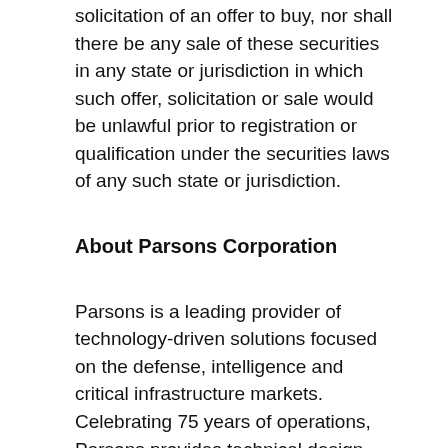This press release shall not constitute an offer to sell or the solicitation of an offer to buy, nor shall there be any sale of these securities in any state or jurisdiction in which such offer, solicitation or sale would be unlawful prior to registration or qualification under the securities laws of any such state or jurisdiction.
About Parsons Corporation
Parsons is a leading provider of technology-driven solutions focused on the defense, intelligence and critical infrastructure markets.  Celebrating 75 years of operations, Parsons provides technical design and engineering services and software to address our customers' challenges.  Parsons has differentiated capabilities in cybersecurity, intelligence, defense, military training, connected communities, physical infrastructure and mobility solutions.  Parsons' combination of talented professionals and advanced technology enables a safer, smarter and more interconnected world.